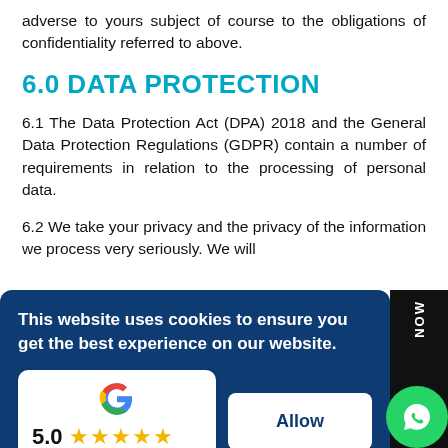adverse to yours subject of course to the obligations of confidentiality referred to above.
6.0 DATA PROTECTION
6.1 The Data Protection Act (DPA) 2018 and the General Data Protection Regulations (GDPR) contain a number of requirements in relation to the processing of personal data.
6.2 We take your privacy and the privacy of the information we process very seriously. We will [partially obscured] the [under] [obscured]
[Figure (screenshot): Cookie consent banner overlay with dark blue background containing text 'This website uses cookies to ensure you get the best experience on our website.' with a Google review card showing 5.0 rating with 5 stars and 'Read our 28 reviews', and an Allow button.]
approach to handling your information and from how you can edit our to your [partially cut off]